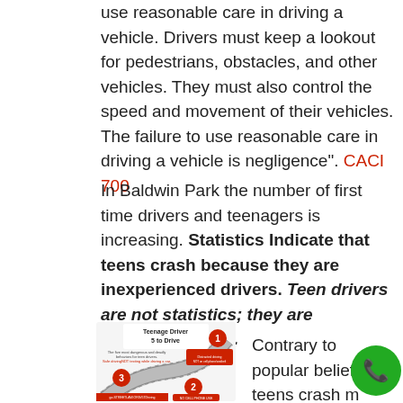use reasonable care in driving a vehicle. Drivers must keep a lookout for pedestrians, obstacles, and other vehicles. They must also control the speed and movement of their vehicles. The failure to use reasonable care in driving a vehicle is negligence". CACI 700
In Baldwin Park the number of first time drivers and teenagers is increasing. Statistics Indicate that teens crash because they are inexperienced drivers. Teen drivers are not statistics; they are someone's child.
[Figure (infographic): Teenage Driver 5 to Drive infographic showing numbered steps 1, 2, 3 along a road with red circular markers]
Contrary to popular belief, teens crash more often because they are